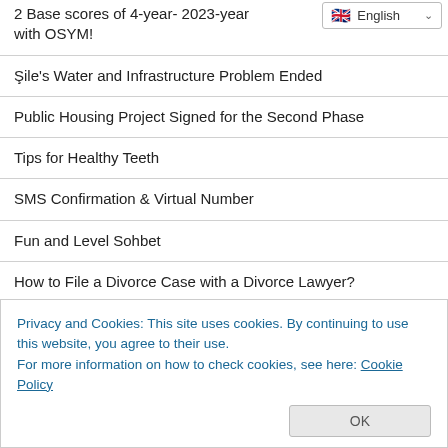2 Base scores of 4-year- 2023-year with OSYM!
Şile's Water and Infrastructure Problem Ended
Public Housing Project Signed for the Second Phase
Tips for Healthy Teeth
SMS Confirmation & Virtual Number
Fun and Level Sohbet
How to File a Divorce Case with a Divorce Lawyer?
What is Polyurethane? What are the Usage Areas of Polyurethane?
Privacy and Cookies: This site uses cookies. By continuing to use this website, you agree to their use.
For more information on how to check cookies, see here: Cookie Policy